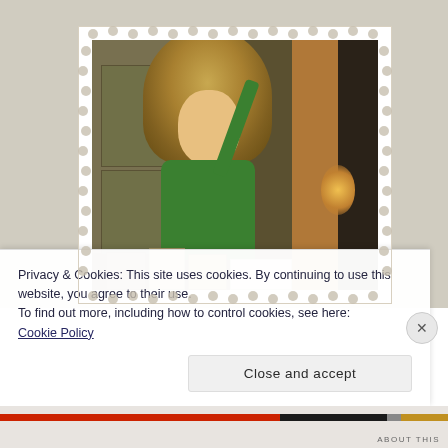[Figure (photo): A child with long curly blonde hair wearing a green top, smiling, with toys/boxes in front, positioned in a room with a wardrobe. The photo is displayed in a decorative white scalloped-edge frame.]
Privacy & Cookies: This site uses cookies. By continuing to use this website, you agree to their use.
To find out more, including how to control cookies, see here:
Cookie Policy
Close and accept